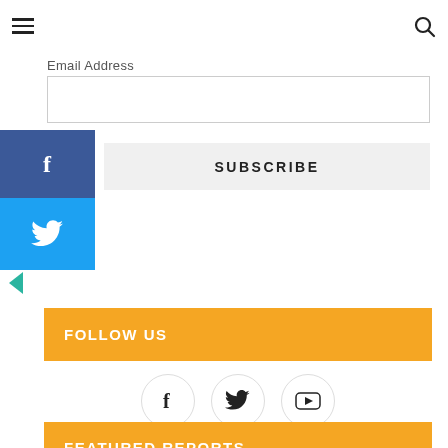Navigation header with hamburger menu and search icon
Email Address
SUBSCRIBE
[Figure (infographic): Blue social media sidebar with Facebook (dark blue) and Twitter (light blue) buttons showing f and bird icons, and a teal left-arrow toggle]
[Figure (infographic): Orange FOLLOW US banner header]
[Figure (infographic): Three circular social media icons: Facebook (f), Twitter (bird), YouTube (play button)]
[Figure (infographic): Orange FEATURED REPORTS banner header]